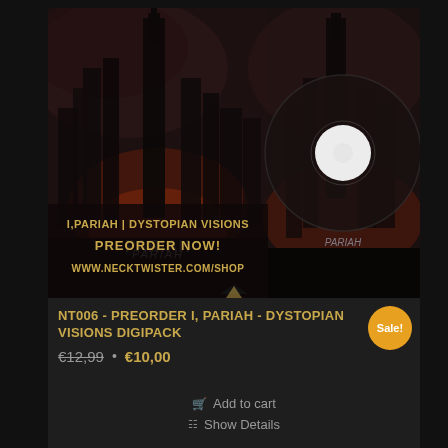[Figure (photo): Album product photo showing I,Pariah – Dystopian Visions CD digipack. Left side shows album cover art with dark cityscape and band name, right side shows the CD disc. Text overlay reads: I,PARIAH | DYSTOPIAN VISIONS PREORDER NOW! WWW.NECKTWISTER.COM/SHOP]
NT006 - PREORDER I, PARIAH - DYSTOPIAN VISIONS DIGIPACK
€12,99 • €10,00
Add to cart
Show Details